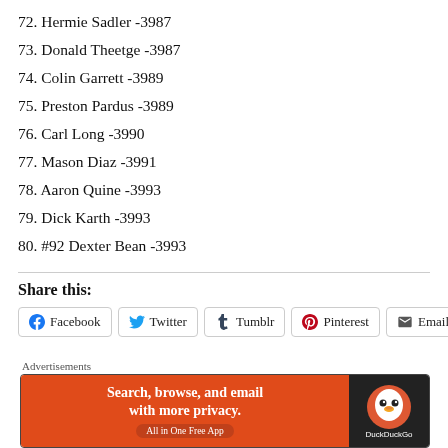72. Hermie Sadler -3987
73. Donald Theetge -3987
74. Colin Garrett -3989
75. Preston Pardus -3989
76. Carl Long -3990
77. Mason Diaz -3991
78. Aaron Quine -3993
79. Dick Karth -3993
80. #92 Dexter Bean -3993
Share this:
Facebook Twitter Tumblr Pinterest Email
Advertisements Search, browse, and email with more privacy. All in One Free App DuckDuckGo